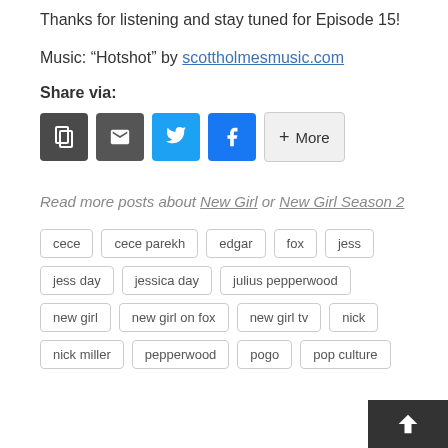Thanks for listening and stay tuned for Episode 15!
Music: “Hotshot” by scottholmesmusic.com
Share via:
[Figure (other): Share buttons: copy link, email, twitter, facebook, and more]
Read more posts about New Girl or New Girl Season 2
cece
cece parekh
edgar
fox
jess
jess day
jessica day
julius pepperwood
new girl
new girl on fox
new girl tv
nick
nick miller
pepperwood
pogo
pop culture